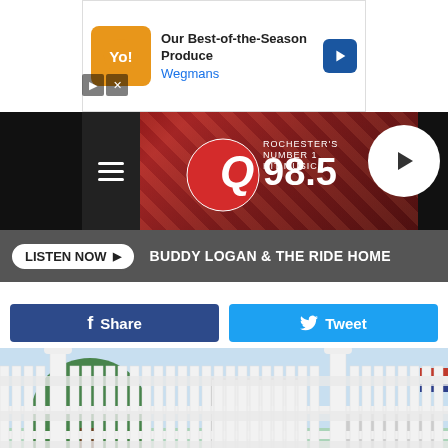[Figure (screenshot): Wegmans advertisement banner: orange logo, text 'Our Best-of-the-Season Produce', 'Wegmans', blue navigation arrow]
[Figure (screenshot): Q98.5 radio station header banner with red gradient background, hamburger menu icon on left, Q98.5 logo in center, play button circle on right]
[Figure (screenshot): Listen Now button bar with grey background. Button reads 'LISTEN NOW ▶' and text 'BUDDY LOGAN & THE RIDE HOME']
[Figure (screenshot): Social share bar with Facebook 'Share' button in dark blue and Twitter 'Tweet' button in light blue]
[Figure (photo): Outdoor scene showing a white picket fence in foreground, large tree, white building/shed, American flag visible, and buildings in background under blue sky]
Adventures in TV-Land via YouTube
[Figure (screenshot): Leesburg Premium Outlets advertisement: black circle logo, 'Save Up to 65%', 'Leesburg Premium Outlets', blue navigation arrow]
As mu
wild